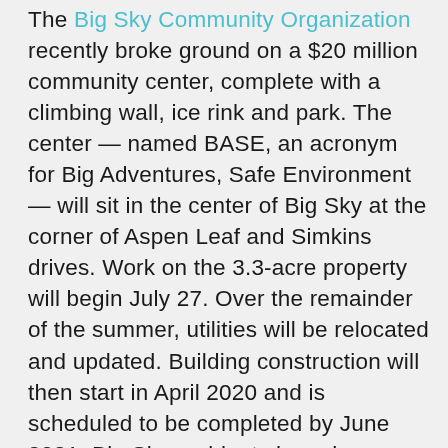The Big Sky Community Organization recently broke ground on a $20 million community center, complete with a climbing wall, ice rink and park. The center — named BASE, an acronym for Big Adventures, Safe Environment — will sit in the center of Big Sky at the corner of Aspen Leaf and Simkins drives. Work on the 3.3-acre property will begin July 27. Over the remainder of the summer, utilities will be relocated and updated. Building construction will then start in April 2020 and is scheduled to be completed by June 2021. Big Sky residents have been working to build a community center for a decade to address the lack of indoor public space in the town. Although residents